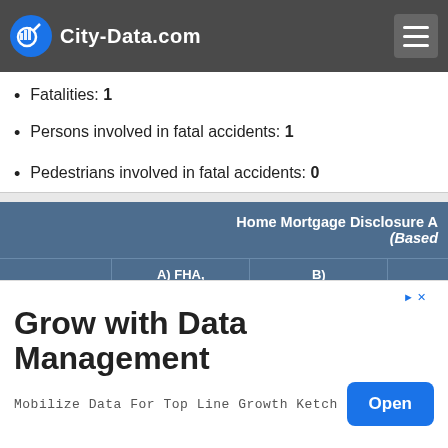City-Data.com
Vehicles involved in fatal accidents: 1 (partially cut off at top)
Total accidents caused by drunken drivers: 0
Fatalities: 1
Persons involved in fatal accidents: 1
Pedestrians involved in fatal accidents: 0
|  | A) FHA, FSA/RHS & VA Home Purchase Loans | B) Conventional Home Purchase Loans |  |
| --- | --- | --- | --- |
[Figure (screenshot): Advertisement: Grow with Data Management - Mobilize Data For Top Line Growth Ketch, with Open button]